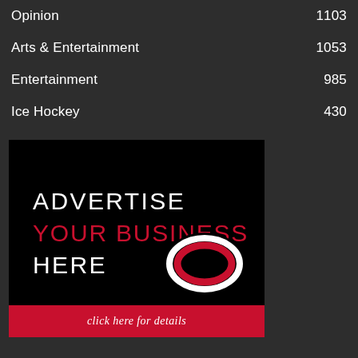Opinion 1103
Arts & Entertainment 1053
Entertainment 985
Ice Hockey 430
[Figure (infographic): Advertisement banner with black background showing 'ADVERTISE YOUR BUSINESS HERE' text with University of Nebraska Omaha logo (stylized O), and a red bar at the bottom reading 'click here for details']